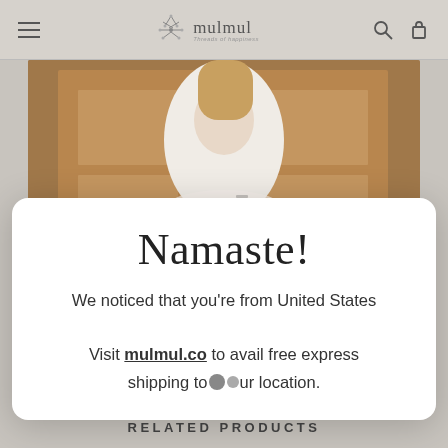mulmul — Threads of happiness
[Figure (photo): Woman wearing a white embroidered top, with a watch on her wrist, standing in front of wooden doors]
Namaste!
We noticed that you're from United States
Visit mulmul.co to avail free express shipping to your location.
RELATED PRODUCTS